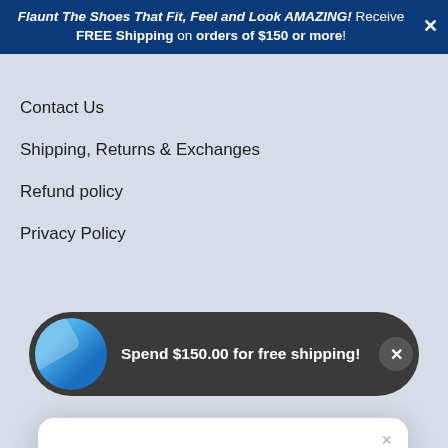Flaunt The Shoes That Fit, Feel and Look AMAZING! Receive FREE Shipping on orders of $150 or more!
Contact Us
Shipping, Returns & Exchanges
Refund policy
Privacy Policy
[Figure (illustration): Sparkle/stars emoji icon inside a light grey circle]
Unlock exclusive rewards and perks
Sign up or Log in
Sign up
Spend $150.00 for free shipping!
The Walking Cradle Company is an